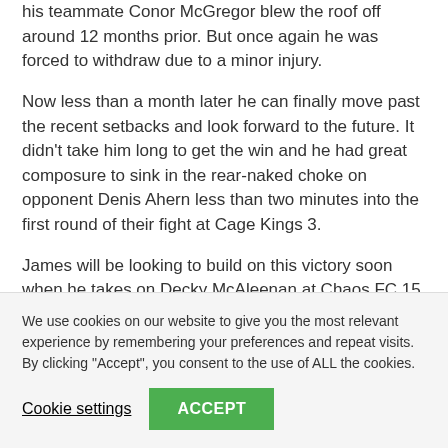his teammate Conor McGregor blew the roof off around 12 months prior. But once again he was forced to withdraw due to a minor injury.
Now less than a month later he can finally move past the recent setbacks and look forward to the future. It didn't take him long to get the win and he had great composure to sink in the rear-naked choke on opponent Denis Ahern less than two minutes into the first round of their fight at Cage Kings 3.
James will be looking to build on this victory soon when he takes on Decky McAleenan at Chaos FC 15 in Ireland on
We use cookies on our website to give you the most relevant experience by remembering your preferences and repeat visits. By clicking "Accept", you consent to the use of ALL the cookies.
Cookie settings  ACCEPT